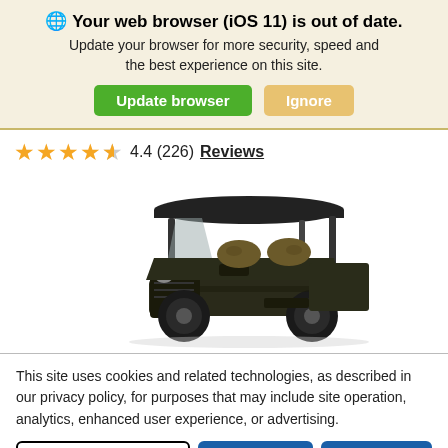🌐 Your web browser (iOS 11) is out of date. Update your browser for more security, speed and the best experience on this site.
Update browser | Ignore
★★★★☆ 4.4 (226) Reviews
[Figure (photo): Side view of a utility terrain vehicle (UTV/side-by-side) with a hard roof, roll cage, camo-patterned seats, and dark green/black body on a white background.]
This site uses cookies and related technologies, as described in our privacy policy, for purposes that may include site operation, analytics, enhanced user experience, or advertising.
Manage Settings | Accept | Decline All